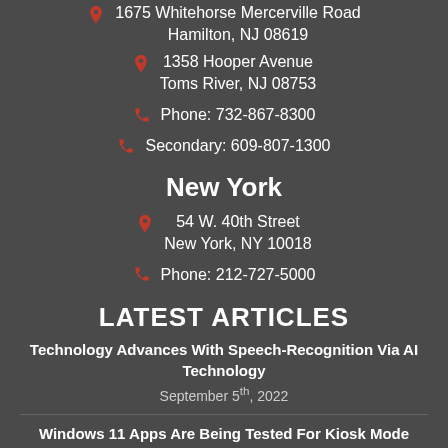1675 Whitehorse Mercerville Road
Hamilton, NJ 08619
1358 Hooper Avenue
Toms River, NJ 08753
Phone: 732-867-8300
Secondary: 609-807-1300
New York
54 W. 40th Street
New York, NY 10018
Phone: 212-727-5000
LATEST ARTICLES
Technology Advances With Speech-Recognition Via AI Technology
September 5th, 2022
Windows 11 Apps Are Being Tested For Kiosk Mode